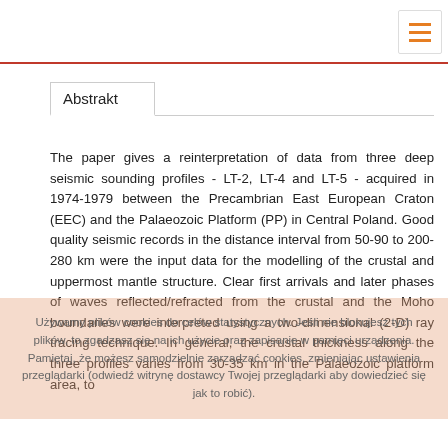Abstrakt
The paper gives a reinterpretation of data from three deep seismic sounding profiles - LT-2, LT-4 and LT-5 - acquired in 1974-1979 between the Precambrian East European Craton (EEC) and the Palaeozoic Platform (PP) in Central Poland. Good quality seismic records in the distance interval from 50-90 to 200-280 km were the input data for the modelling of the crustal and uppermost mantle structure. Clear first arrivals and later phases of waves reflected/refracted from the crustal and the Moho boundaries were interpreted using a two-dimensional (2-D) ray tracing technique. In general, the crustal thickness along the three profiles varies from 30-35 km in the Palaeozoic platform area, to